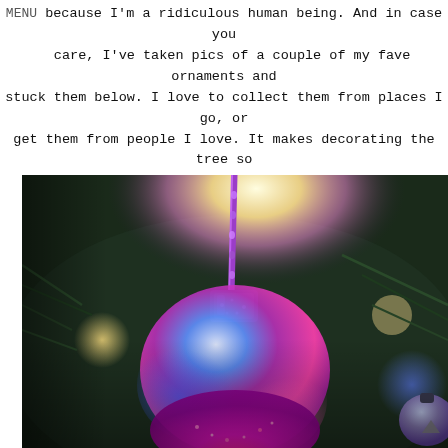MENU because I'm a ridiculous human being. And in case you care, I've taken pics of a couple of my fave ornaments and stuck them below. I love to collect them from places I go, or get them from people I love. It makes decorating the tree so much more fun. Christmas DORK!
[Figure (photo): Close-up photograph of a Christmas ornament hanging on a tree. The ornament is glittery pink/magenta at the bottom with a dark metallic cap, hung by a purple ribbon. Colorful lights (purple, blue, pink, yellow) create a bright bokeh glow in the background of dark green pine needles.]